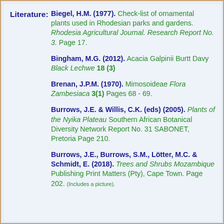Literature:
Biegel, H.M. (1977). Check-list of ornamental plants used in Rhodesian parks and gardens. Rhodesia Agricultural Journal. Research Report No. 3. Page 17.
Bingham, M.G. (2012). Acacia Galpinii Burtt Davy Black Lechwe 18 (3)
Brenan, J.P.M. (1970). Mimosoideae Flora Zambesiaca 3(1) Pages 68 - 69.
Burrows, J.E. & Willis, C.K. (eds) (2005). Plants of the Nyika Plateau Southern African Botanical Diversity Network Report No. 31 SABONET, Pretoria Page 210.
Burrows, J.E., Burrows, S.M., Lötter, M.C. & Schmidt, E. (2018). Trees and Shrubs Mozambique Publishing Print Matters (Pty), Cape Town. Page 202. (Includes a picture).